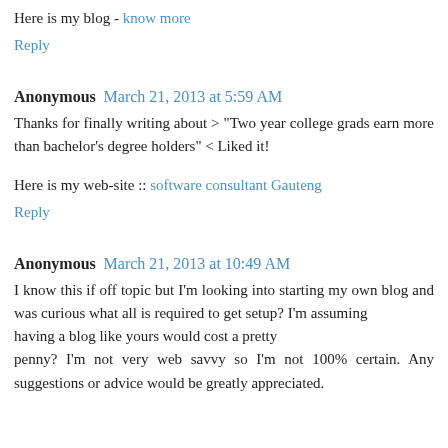Here is my blog - know more
Reply
Anonymous  March 21, 2013 at 5:59 AM
Thanks for finally writing about > "Two year college grads earn more than bachelor's degree holders" < Liked it!
Here is my web-site :: software consultant Gauteng
Reply
Anonymous  March 21, 2013 at 10:49 AM
I know this if off topic but I'm looking into starting my own blog and was curious what all is required to get setup? I'm assuming having a blog like yours would cost a pretty penny? I'm not very web savvy so I'm not 100% certain. Any suggestions or advice would be greatly appreciated.